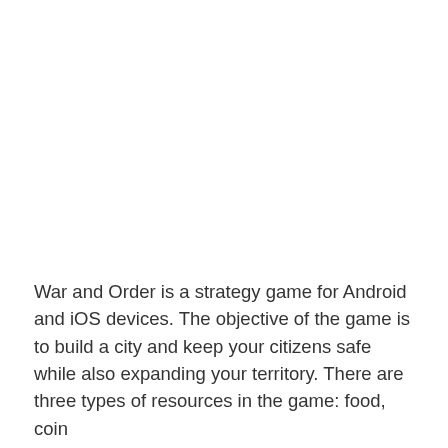War and Order is a strategy game for Android and iOS devices. The objective of the game is to build a city and keep your citizens safe while also expanding your territory. There are three types of resources in the game: food, coin